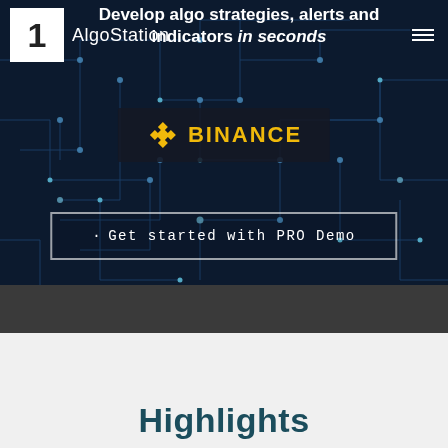[Figure (screenshot): Dark circuit board background with blue glowing traces for AlgoStation hero section]
Develop algo strategies, alerts and indicators in seconds
1 AlgoStation
[Figure (logo): Binance logo with diamond/rhombus icon and text BINANCE in gold on dark background]
Get started with PRO Demo
Highlights